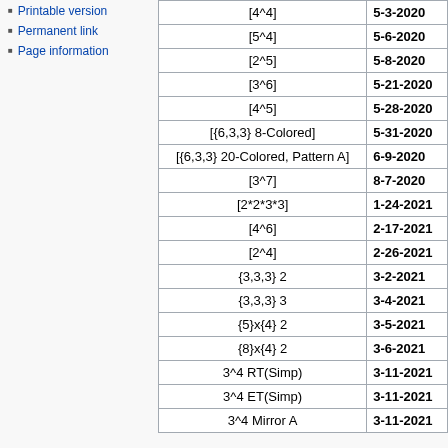Printable version
Permanent link
Page information
| Name | Date |
| --- | --- |
| [4^4] | 5-3-2020 |
| [5^4] | 5-6-2020 |
| [2^5] | 5-8-2020 |
| [3^6] | 5-21-2020 |
| [4^5] | 5-28-2020 |
| [{6,3,3} 8-Colored] | 5-31-2020 |
| [{6,3,3} 20-Colored, Pattern A] | 6-9-2020 |
| [3^7] | 8-7-2020 |
| [2*2*3*3] | 1-24-2021 |
| [4^6] | 2-17-2021 |
| [2^4] | 2-26-2021 |
| {3,3,3} 2 | 3-2-2021 |
| {3,3,3} 3 | 3-4-2021 |
| {5}x{4} 2 | 3-5-2021 |
| {8}x{4} 2 | 3-6-2021 |
| 3^4 RT(Simp) | 3-11-2021 |
| 3^4 ET(Simp) | 3-11-2021 |
| 3^4 Mirror A | 3-11-2021 |